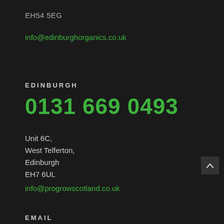EH54 5EG
info@edinburghorganics.co.uk
EDINBURGH
0131 669 0493
Unit 6C,
West Telferton,
Edinburgh
EH7 6UL
info@progrowscotland.co.uk
EMAIL